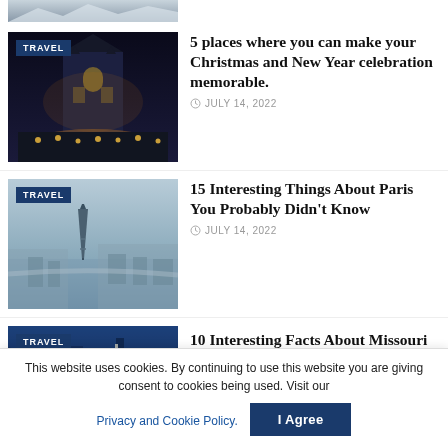[Figure (photo): Partially visible top of a snowy mountain/scenic photo, cropped]
[Figure (photo): Night photo of a cathedral with people lighting candles, TRAVEL badge overlay]
5 places where you can make your Christmas and New Year celebration memorable.
JULY 14, 2022
[Figure (photo): Aerial daytime photo of Paris with Eiffel Tower, TRAVEL badge overlay]
15 Interesting Things About Paris You Probably Didn't Know
JULY 14, 2022
[Figure (photo): City skyline at dusk/night with tall buildings, TRAVEL badge overlay]
10 Interesting Facts About Missouri
This website uses cookies. By continuing to use this website you are giving consent to cookies being used. Visit our Privacy and Cookie Policy.